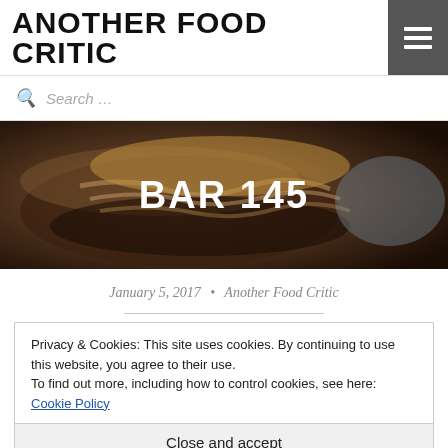ANOTHER FOOD CRITIC
Search ...
[Figure (photo): Close-up photo of a burger with shredded onions/toppings on a bun, dark moody background, with 'BAR 145' text overlaid in large bold white letters]
January 5, 2017 • Another Food Critic
Privacy & Cookies: This site uses cookies. By continuing to use this website, you agree to their use.
To find out more, including how to control cookies, see here: Cookie Policy
Close and accept
[Figure (photo): Partial bottom strip of a dark restaurant interior photo]